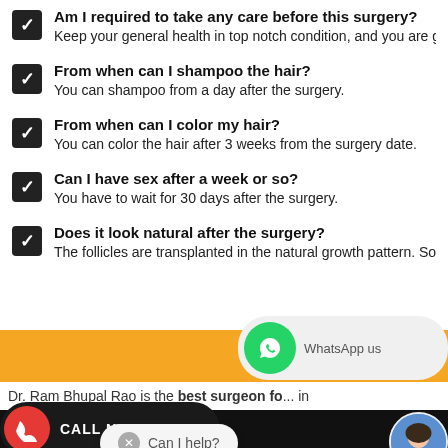Am I required to take any care before this surgery?
Keep your general health in top notch condition, and you are good
From when can I shampoo the hair?
You can shampoo from a day after the surgery.
From when can I color my hair?
You can color the hair after 3 weeks from the surgery date.
Can I have sex after a week or so?
You have to wait for 30 days after the surgery.
Does it look natural after the surgery?
The follicles are transplanted in the natural growth pattern. So the
[Figure (infographic): Orange banner with WhatsApp button overlay]
Dr. Ram Bhupal Rao is the best surgeon fo... in
timonials
[Figure (infographic): CALL NOW button with red phone icon on dark background]
No hiccups at all
[Figure (photo): Doctor avatar thumbnail circle]